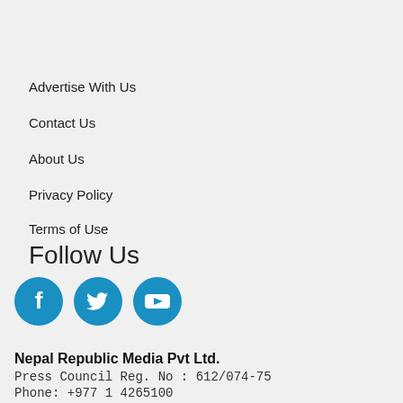Advertise With Us
Contact Us
About Us
Privacy Policy
Terms of Use
Follow Us
[Figure (infographic): Three social media icon circles: Facebook (f), Twitter (bird), YouTube (play button) in blue]
Nepal Republic Media Pvt Ltd.
Press Council Reg. No : 612/074-75
Phone: +977 1 4265100